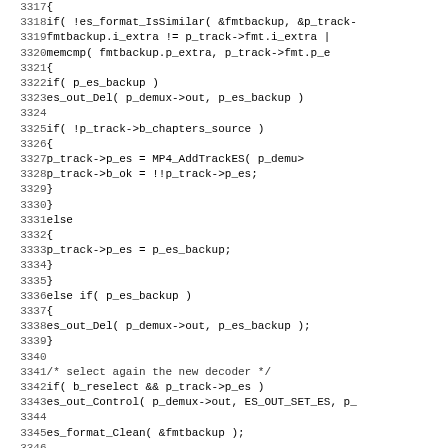[Figure (screenshot): Source code listing in monospace font showing C code lines 3317-3348, with line numbers on the left and code on the right. The code shows conditional logic for es_format_IsSimilar, p_es_backup, p_track chapters source, MP4_AddTrackES, es_out_Del, es_out_Control, es_format_Clean, and restoration of fragmented pos.]